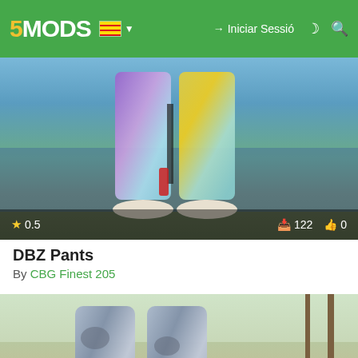5MODS — Iniciar Sessió
[Figure (screenshot): GTA V mod screenshot showing character wearing colorful DBZ-style pants (purple/yellow/teal gradient) near water. Rating 0.5 stars, 122 downloads, 0 likes shown in overlay bar.]
DBZ Pants
By CBG Finest 205
[Figure (screenshot): GTA V mod screenshot showing character legs wearing grey/blue camo-style DBZ pants with white/yellow Nike sneakers, suburban street background with palm trees. Advertisement overlay: HBO Max LIMITED-TIME OFFER SAVE OVER 40% WHEN YOU PREPAY FOR A YEAR. Like count: 9.]